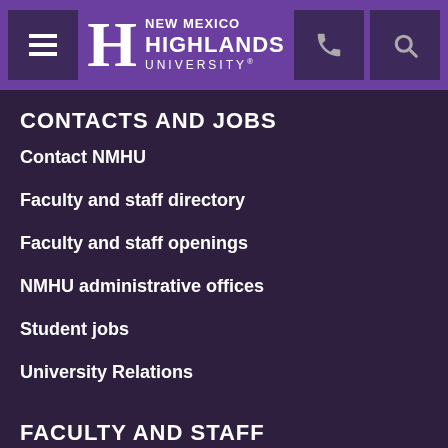New Mexico Highlands University
CONTACTS AND JOBS
Contact NMHU
Faculty and staff directory
Faculty and staff openings
NMHU administrative offices
Student jobs
University Relations
FACULTY AND STAFF
Employee web entry timesheets
Faculty and staff resources